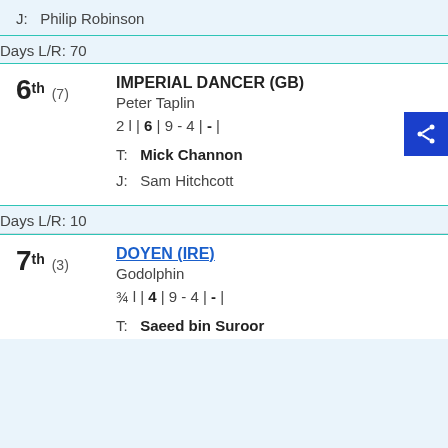J:  Philip Robinson
Days L/R: 70
6th (7)  IMPERIAL DANCER (GB)  Peter Taplin  2 l | 6 | 9 - 4 | - |  T: Mick Channon  J: Sam Hitchcott
Days L/R: 10
7th (3)  DOYEN (IRE)  Godolphin  ¾ l | 4 | 9 - 4 | - |  T: Saeed bin Suroor  J: Frankie Dettori